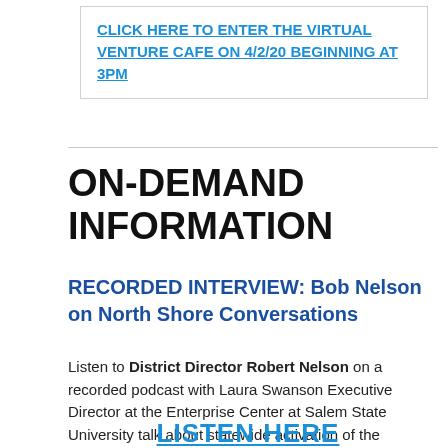CLICK HERE TO ENTER THE VIRTUAL VENTURE CAFE ON 4/2/20 BEGINNING AT 3PM
ON-DEMAND INFORMATION
RECORDED INTERVIEW: Bob Nelson on North Shore Conversations
Listen to District Director Robert Nelson on a recorded podcast with Laura Swanson Executive Director at the Enterprise Center at Salem State University talk about statewide activation of the Economic Injury Disaster Loan program.
LISTEN HERE